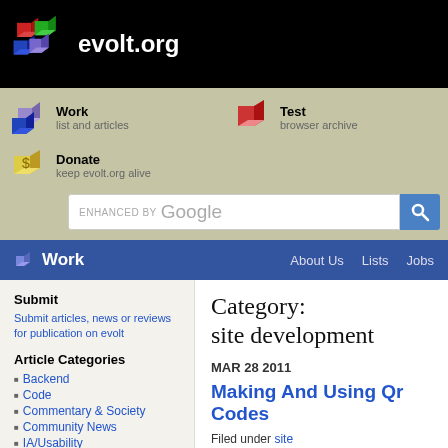[Figure (logo): evolt.org logo with colored 3D cubes and white text]
Work list and articles | Test browser archive | Donate keep evolt.org alive
[Figure (other): ENHANCED BY Google search bar with blue search button]
Work | About Us | Lists | Jobs
Submit
Submit articles, news or reviews for publication on evolt
Article Categories
Backend
Code
Commentary & Society
Community News
IA/Usability
Jobs
News
Reviews & Links
Site Development
Category: site development
MAR 28 2011
Making And Using Qr Codes
Filed under site development
MAR 08 2010
Real World